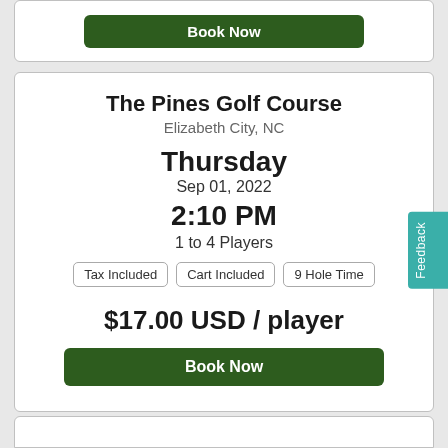Book Now (top card, partial)
The Pines Golf Course
Elizabeth City, NC
Thursday
Sep 01, 2022
2:10 PM
1 to 4 Players
Tax Included
Cart Included
9 Hole Time
$17.00 USD / player
Book Now